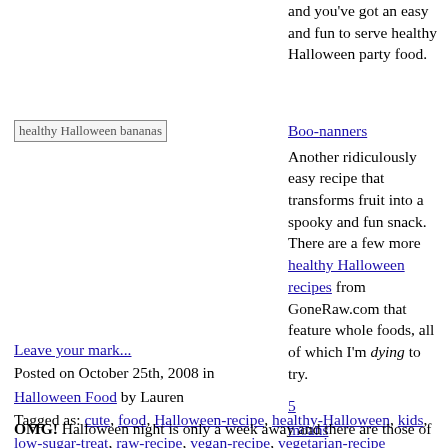and you've got an easy and fun to serve healthy Halloween party food.
[Figure (photo): healthy Halloween bananas image placeholder]
Boo-nanners
Another ridiculously easy recipe that transforms fruit into a spooky and fun snack. There are a few more healthy Halloween recipes from GoneRaw.com that feature whole foods, all of which I'm dying to try.
5
moans
Leave your mark...
Posted on October 25th, 2008 in
Halloween Food by Lauren
Tagged as: cute, food, Halloween-recipe, healthy-Halloween, kids, low-sugar-treat, raw-recipe, vegan-recipe, vegetarian-recipe
Halloween Costume Online Ordering Deadlines
OMG! Halloween night is only a week away and there are those of